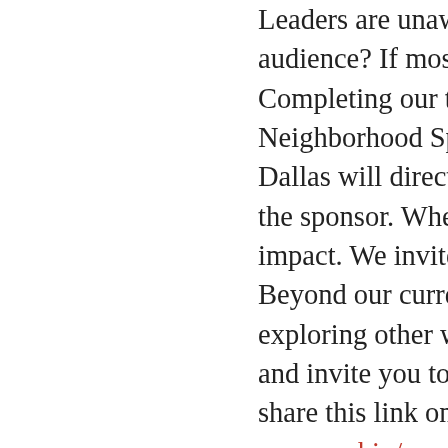Leaders are unaware of our vital ministry, what about our audience? If most Christians aren't aware of our ministry... Completing our traid of new initiatives launching... Neighborhood Sponsorship Program. Here's the s... Dallas will direct mail a Kids Good News Kit to an... the sponsor. Whether it is 10 homes or 1,000, env... impact. We invite and encourage you to become... Beyond our current reach, the potential for this in... exploring other ways to get the word out about b... and invite you to share the opportunity with your... share this link on your social media: https://cefda...sponsorship/
There are approximately 300,000 children, age 3... region. Together, we can truly reach Every Child!... prayerfully serve us well toward that accomplishi... our core ministries.